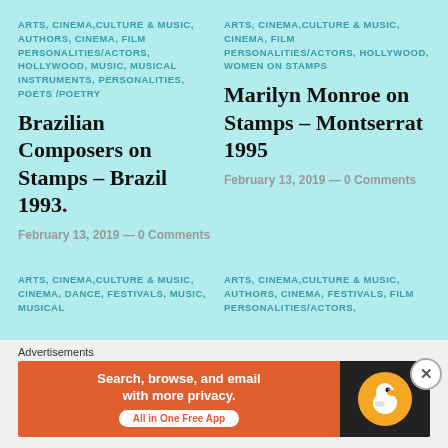ARTS, CINEMA, CULTURE & MUSIC, AUTHORS, CINEMA, FILM PERSONALITIES/ACTORS, HOLLYWOOD, MUSIC, MUSICAL INSTRUMENTS, PERSONALITIES, POETS /POETRY
Brazilian Composers on Stamps – Brazil 1993.
February 13, 2019 — 0 Comments
ARTS, CINEMA, CULTURE & MUSIC, CINEMA, FILM PERSONALITIES/ACTORS, HOLLYWOOD, WOMEN ON STAMPS
Marilyn Monroe on Stamps – Montserrat 1995
February 13, 2019 — 0 Comments
ARTS, CINEMA, CULTURE & MUSIC, CINEMA, DANCE, FESTIVALS, MUSIC, MUSICAL
ARTS, CINEMA, CULTURE & MUSIC, AUTHORS, CINEMA, FESTIVALS, FILM PERSONALITIES/ACTORS,
Advertisements
[Figure (screenshot): DuckDuckGo advertisement banner: orange background with text 'Search, browse, and email with more privacy. All in One Free App' and DuckDuckGo logo on dark right panel.]